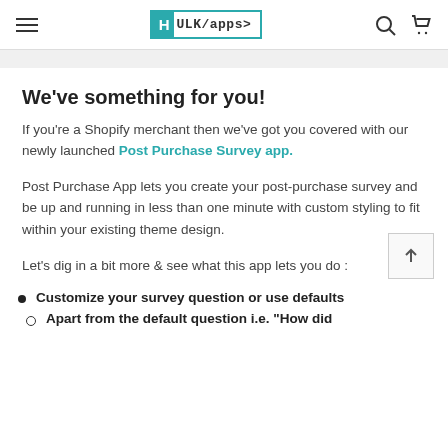HULK/apps>
We’ve something for you!
If you’re a Shopify merchant then we’ve got you covered with our newly launched Post Purchase Survey app.
Post Purchase App lets you create your post-purchase survey and be up and running in less than one minute with custom styling to fit within your existing theme design.
Let’s dig in a bit more & see what this app lets you do :
Customize your survey question or use defaults
Apart from the default question i.e. “How did